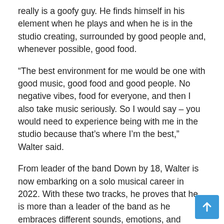really is a goofy guy. He finds himself in his element when he plays and when he is in the studio creating, surrounded by good people and, whenever possible, good food.
“The best environment for me would be one with good music, good food and good people. No negative vibes, food for everyone, and then I also take music seriously. So I would say – you would need to experience being with me in the studio because that’s where I’m the best,” Walter said.
From leader of the band Down by 18, Walter is now embarking on a solo musical career in 2022. With these two tracks, he proves that he is more than a leader of the band as he embraces different sounds, emotions, and genres to put highlighting its musical versatility.
“The solo path means you have to learn new things from new people every day, because it’s a daily learning process. I work